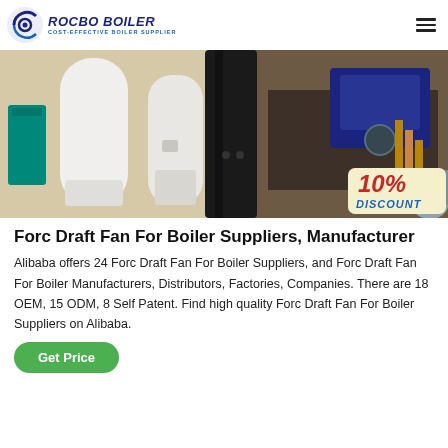ROCBO BOILER COST-EFFECTIVE BOILER SUPPLIER
[Figure (photo): Industrial boiler equipment showroom with white and black cylindrical boilers and industrial machinery. A 10% DISCOUNT badge is visible in the bottom right corner.]
Forc Draft Fan For Boiler Suppliers, Manufacturer
Alibaba offers 24 Forc Draft Fan For Boiler Suppliers, and Forc Draft Fan For Boiler Manufacturers, Distributors, Factories, Companies. There are 18 OEM, 15 ODM, 8 Self Patent. Find high quality Forc Draft Fan For Boiler Suppliers on Alibaba.
Get Price